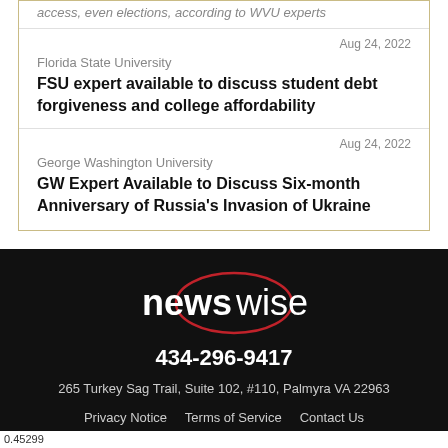access, even elections, according to WVU experts
Aug 24, 2022
Florida State University
FSU expert available to discuss student debt forgiveness and college affordability
Aug 24, 2022
George Washington University
GW Expert Available to Discuss Six-month Anniversary of Russia's Invasion of Ukraine
[Figure (logo): Newswise logo: 'news' in white bold text and 'wise' in white text inside a dark red oval outline on black background]
434-296-9417
265 Turkey Sag Trail, Suite 102, #110, Palmyra VA 22963
Privacy Notice   Terms of Service   Contact Us
0.45299